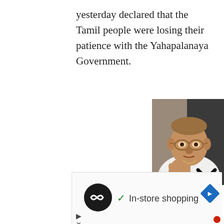yesterday declared that the Tamil people were losing their patience with the Yahapalanaya Government.
[Figure (photo): Elderly South Asian man in white clothing, wearing glasses, gesturing with hands raised, photographed against a dark background.]
[Figure (screenshot): Advertisement banner showing a circular dark logo with infinity symbol, a checkmark followed by 'In-store shopping' text, and a blue diamond navigation arrow icon. Below are small playback and close icons.]